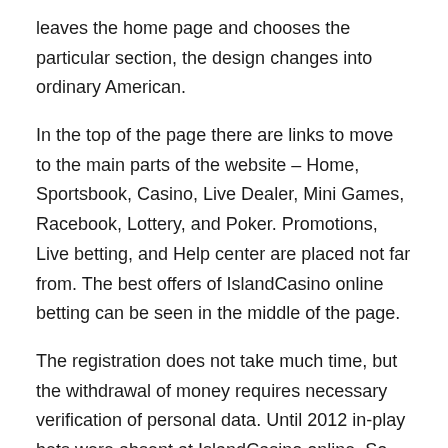leaves the home page and chooses the particular section, the design changes into ordinary American.
In the top of the page there are links to move to the main parts of the website – Home, Sportsbook, Casino, Live Dealer, Mini Games, Racebook, Lottery, and Poker. Promotions, Live betting, and Help center are placed not far from. The best offers of IslandCasino online betting can be seen in the middle of the page.
The registration does not take much time, but the withdrawal of money requires necessary verification of personal data. Until 2012 in-play bets were absent at IslandCasino online. So this option became available just several years ago. In general, the navigation is simple and doesṅt need extra efforts. The functionality of the website is good. It operates without deadlocks.